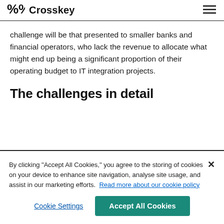Crosskey
challenge will be that presented to smaller banks and financial operators, who lack the revenue to allocate what might end up being a significant proportion of their operating budget to IT integration projects.
The challenges in detail
By clicking "Accept All Cookies," you agree to the storing of cookies on your device to enhance site navigation, analyse site usage, and assist in our marketing efforts. Read more about our cookie policy
Cookie Settings
Accept All Cookies